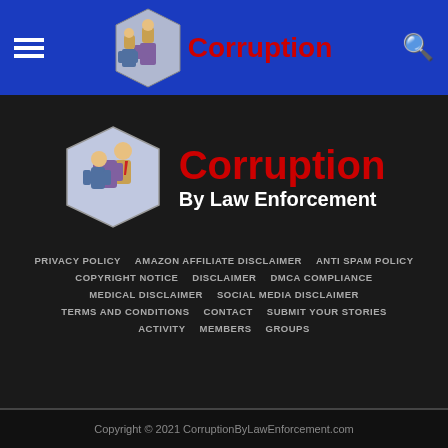Corruption By Law Enforcement
[Figure (logo): Illustration of two detectives/law enforcement figures in suits]
Corruption By Law Enforcement
PRIVACY POLICY
AMAZON AFFILIATE DISCLAIMER
ANTI SPAM POLICY
COPYRIGHT NOTICE
DISCLAIMER
DMCA COMPLIANCE
MEDICAL DISCLAIMER
SOCIAL MEDIA DISCLAIMER
TERMS AND CONDITIONS
CONTACT
SUBMIT YOUR STORIES
ACTIVITY
MEMBERS
GROUPS
Copyright © 2021 CorruptionByLawEnforcement.com